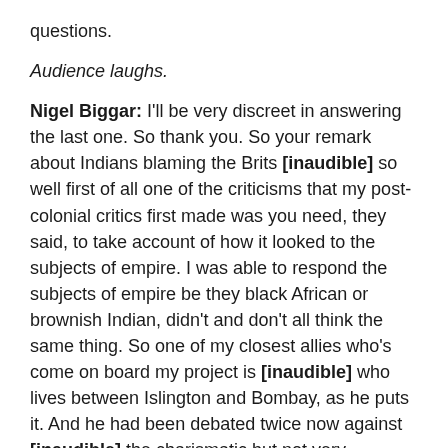questions.
Audience laughs.
Nigel Biggar: I'll be very discreet in answering the last one. So thank you. So your remark about Indians blaming the Brits [inaudible] so well first of all one of the criticisms that my post-colonial critics first made was you need, they said, to take account of how it looked to the subjects of empire. I was able to respond the subjects of empire be they black African or brownish Indian, didn't and don't all think the same thing. So one of my closest allies who's come on board my project is [inaudible] who lives between Islington and Bombay, as he puts it. And he had been debated twice now against [inaudible] the charismatic but not very scrupulous Indian MP. So, first thing to say is what you report is right I presume amongst